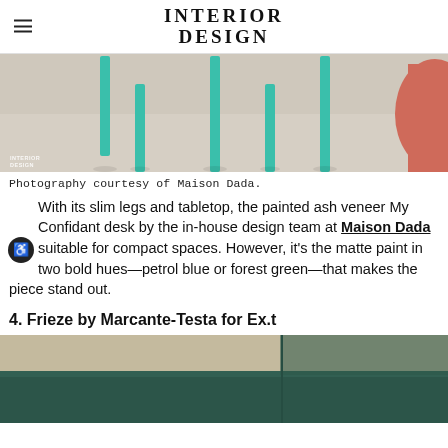INTERIOR DESIGN
[Figure (photo): Photo of a painted ash veneer desk with slim teal/green legs against a neutral background, with a coral/red element on the right side. Interior Design watermark in lower left.]
Photography courtesy of Maison Dada.
With its slim legs and tabletop, the painted ash veneer My Confidant desk by the in-house design team at Maison Dada suitable for compact spaces. However, it’s the matte paint in two bold hues—petrol blue or forest green—that makes the piece stand out.
4. Frieze by Marcante-Testa for Ex.t
[Figure (photo): Photo of a piece of furniture (Frieze by Marcante-Testa for Ex.t) showing a dark teal/green upholstered surface against a neutral wall background.]